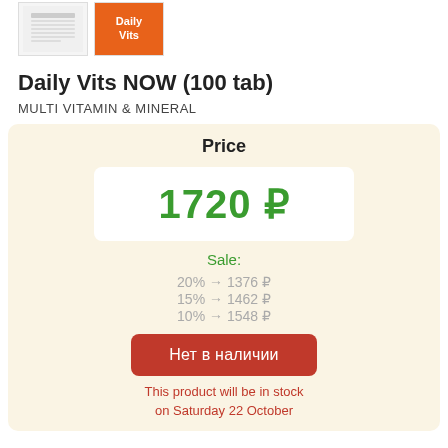[Figure (photo): Two product thumbnails: a nutrition facts label image and an orange Daily Vits supplement bottle]
Daily Vits NOW (100 tab)
MULTI VITAMIN & MINERAL
Price
1720 ₽
Sale:
20%  →  1376 ₽
15%  →  1462 ₽
10%  →  1548 ₽
Нет в наличии
This product will be in stock on Saturday 22 October